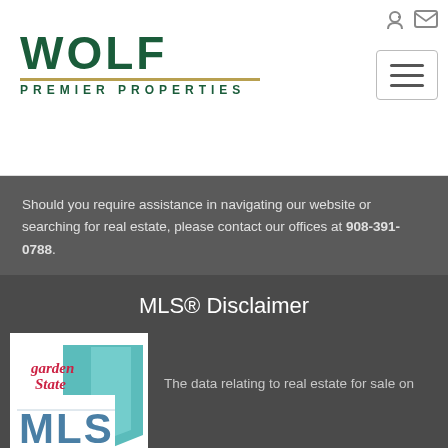[Figure (logo): Wolf Premier Properties logo with green WOLF text and gold underline, PREMIER PROPERTIES subtitle]
Should you require assistance in navigating our website or searching for real estate, please contact our offices at 908-391-0788.
MLS® Disclaimer
[Figure (logo): Garden State MLS logo]
The data relating to real estate for sale on this website comes in part from the IDX Program of Garden State Multiple Listing Service, L.L.C. and Wolf Premier Properties LLC Real estate listings held by other brokerage firms are marked as